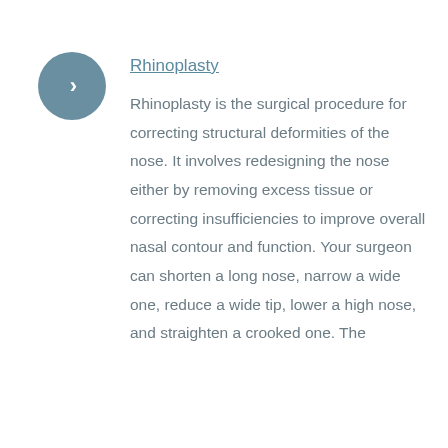[Figure (other): Circular grey button with a right-pointing chevron arrow]
Rhinoplasty
Rhinoplasty is the surgical procedure for correcting structural deformities of the nose. It involves redesigning the nose either by removing excess tissue or correcting insufficiencies to improve overall nasal contour and function. Your surgeon can shorten a long nose, narrow a wide one, reduce a wide tip, lower a high nose, and straighten a crooked one. The